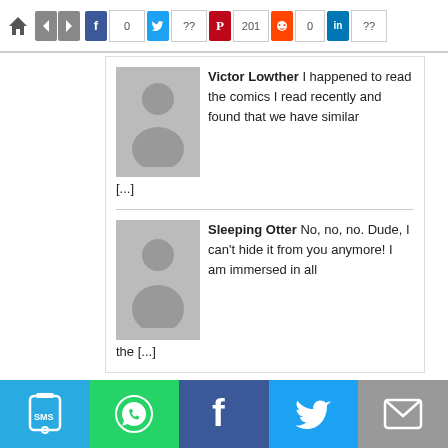[Figure (screenshot): Social sharing toolbar with home icon, navigation arrows, and share buttons for Facebook (0), Twitter (??), Pinterest (201), Reddit (0), LinkedIn (??)]
Victor Lowther I happened to read the comics I read recently and found that we have similar [...]
Sleeping Otter No, no, no. Dude, I can't hide it from you anymore! I am immersed in all the [...]
[Figure (screenshot): Bottom social sharing bar with SMS, WhatsApp, Facebook, Twitter, and Email buttons]